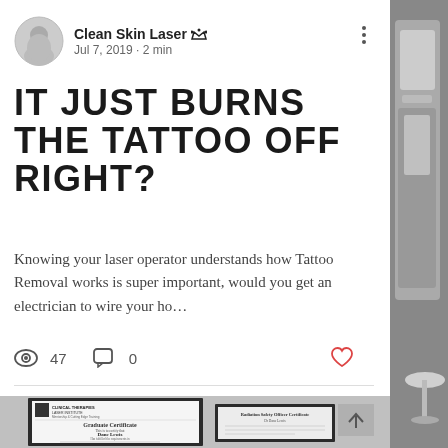Clean Skin Laser · Jul 7, 2019 · 2 min
IT JUST BURNS THE TATTOO OFF RIGHT?
Knowing your laser operator understands how Tattoo Removal works is super important, would you get an electrician to wire your ho…
47 views · 0 comments
[Figure (photo): Framed Graduate Certificate from Clinical Therapies Laser Institute awarded to Dane Lewis, and a second framed Radiation Safety Officer Certificate]